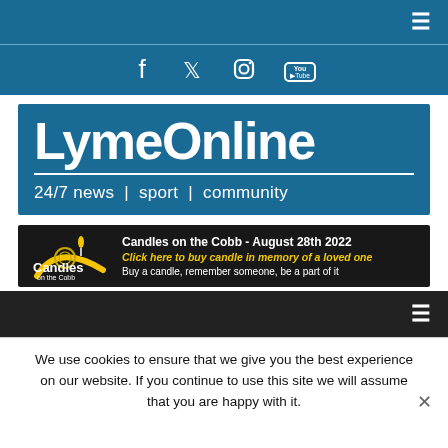≡ (hamburger menu icon)
[Figure (other): Social media icons bar: Facebook, Twitter, Instagram, YouTube on blue background]
[Figure (logo): LymeOnline logo banner — blue background, large white bold text 'LymeOnline', white underline, tagline '24/7 news | sport | community']
[Figure (other): Advertisement banner for 'Candles on the Cobb - August 28th 2022'. Click here to buy candle in memory of a loved one. Buy a candle, remember someone, be a part of it.]
≡ (hamburger menu icon) on dark bar
We use cookies to ensure that we give you the best experience on our website. If you continue to use this site we will assume that you are happy with it.